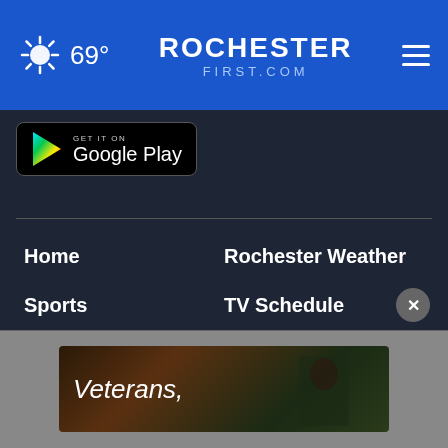69° ROCHESTERFIRST.COM
[Figure (screenshot): Google Play store badge]
Home
Rochester Weather
Sports
TV Schedule
Contests
Calendar
Work For Us
Meet The Team
Contact Us
[Figure (photo): Advertisement banner showing a person with text 'Veterans,']